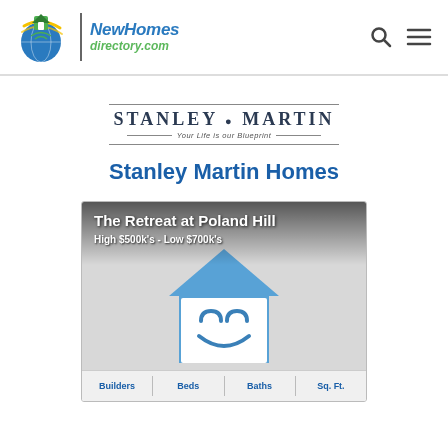NewHomes directory.com
[Figure (logo): Stanley Martin Homes logo with tagline 'Your Life is our Blueprint']
Stanley Martin Homes
[Figure (screenshot): Property listing card for 'The Retreat at Poland Hill', High $500k's - Low $700k's, with Builders, Beds, Baths, Sq. Ft. fields at bottom]